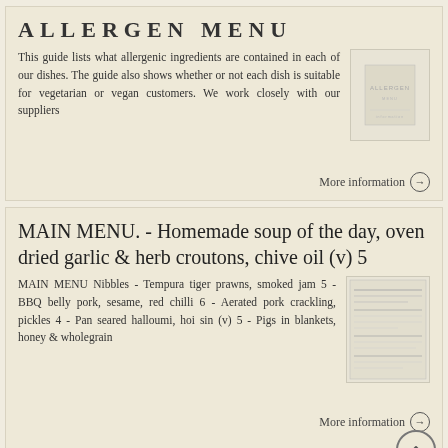ALLERGEN MENU
This guide lists what allergenic ingredients are contained in each of our dishes. The guide also shows whether or not each dish is suitable for vegetarian or vegan customers. We work closely with our suppliers
More information →
MAIN MENU. - Homemade soup of the day, oven dried garlic & herb croutons, chive oil (v) 5
MAIN MENU Nibbles - Tempura tiger prawns, smoked jam 5 - BBQ belly pork, sesame, red chilli 6 - Aerated pork crackling, pickles 4 - Pan seared halloumi, hoi sin (v) 5 - Pigs in blankets, honey & wholegrain
More information →